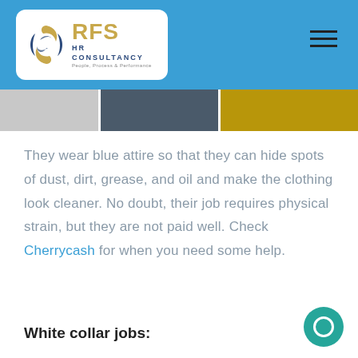[Figure (logo): RFS HR Consultancy logo on white rounded card in blue header bar]
[Figure (illustration): Hamburger menu icon (three horizontal lines) in top right of blue header]
[Figure (photo): Partial image strip showing sections of photos below the header bar]
They wear blue attire so that they can hide spots of dust, dirt, grease, and oil and make the clothing look cleaner. No doubt, their job requires physical strain, but they are not paid well. Check Cherrycash for when you need some help.
White collar jobs: